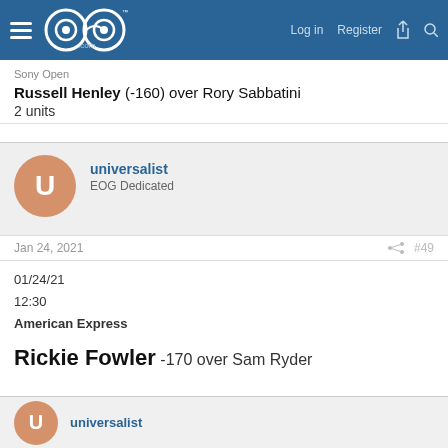EOG.com — Log in   Register
Sony Open
Russell Henley (-160) over Rory Sabbatini
2 units
universalist
EOG Dedicated
Jan 24, 2021   #49
01/24/21
12:30
American Express
Rickie Fowler -170 over Sam Ryder
universalist